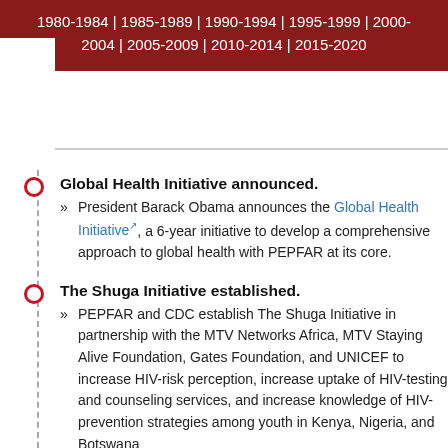1980-1984 | 1985-1989 | 1990-1994 | 1995-1999 | 2000-2004 | 2005-2009 | 2010-2014 | 2015-2020
Global Health Initiative announced.
President Barack Obama announces the Global Health Initiative, a 6-year initiative to develop a comprehensive approach to global health with PEPFAR at its core.
The Shuga Initiative established.
PEPFAR and CDC establish The Shuga Initiative in partnership with the MTV Networks Africa, MTV Staying Alive Foundation, Gates Foundation, and UNICEF to increase HIV-risk perception, increase uptake of HIV-testing and counseling services, and increase knowledge of HIV-prevention strategies among youth in Kenya, Nigeria, and Botswana